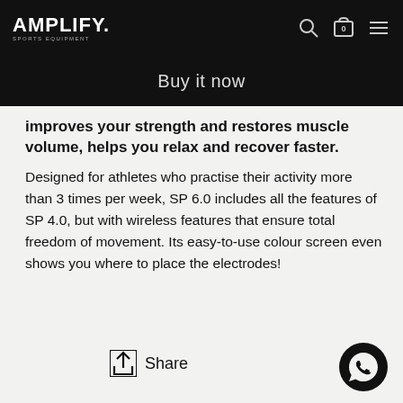AMPLIFY. SPORTS EQUIPMENT
Buy it now
improves your strength and restores muscle volume, helps you relax and recover faster. Designed for athletes who practise their activity more than 3 times per week, SP 6.0 includes all the features of SP 4.0, but with wireless features that ensure total freedom of movement. Its easy-to-use colour screen even shows you where to place the electrodes!
Share